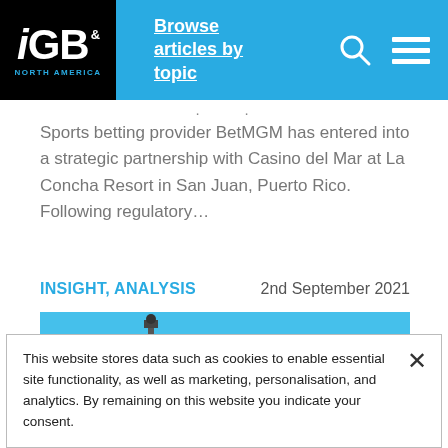iGB NORTH AMERICA — Browse articles by topic
Sports betting provider BetMGM has entered into a strategic partnership with Casino del Mar at La Concha Resort in San Juan, Puerto Rico. Following regulatory…
INSIGHT, ANALYSIS    2nd September 2021
[Figure (photo): Photo of a structure with a red element against a bright blue sky]
This website stores data such as cookies to enable essential site functionality, as well as marketing, personalisation, and analytics. By remaining on this website you indicate your consent.